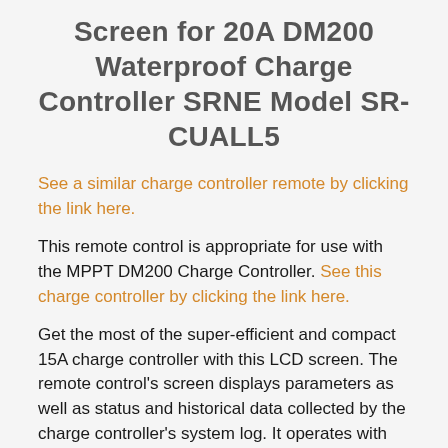Screen for 20A DM200 Waterproof Charge Controller SRNE Model SR-CUALL5
See a similar charge controller remote by clicking the link here.
This remote control is appropriate for use with the MPPT DM200 Charge Controller. See this charge controller by clicking the link here.
Get the most of the super-efficient and compact 15A charge controller with this LCD screen. The remote control's screen displays parameters as well as status and historical data collected by the charge controller's system log. It operates with adjustable remote control distance and under two remote control modes: infrared